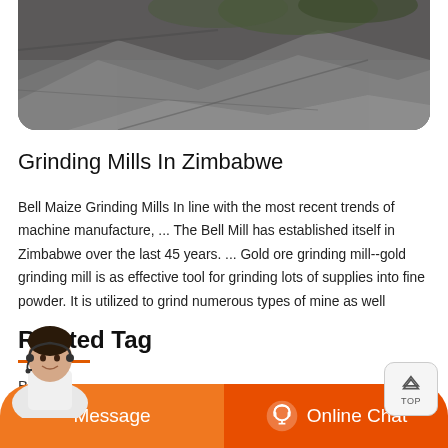[Figure (photo): Dark grayscale photo of what appears to be a grinding mill or industrial stone surface, shown at the top of the page as a rounded-bottom card image.]
Grinding Mills In Zimbabwe
Bell Maize Grinding Mills In line with the most recent trends of machine manufacture, ... The Bell Mill has established itself in Zimbabwe over the last 45 years. ... Gold ore grinding mill--gold grinding mill is as effective tool for grinding lots of supplies into fine powder. It is utilized to grind numerous types of mine as well
Related Tag
Billing
[Figure (photo): Customer service representative (woman with headset) partially visible at bottom left corner.]
Message
Online Chat